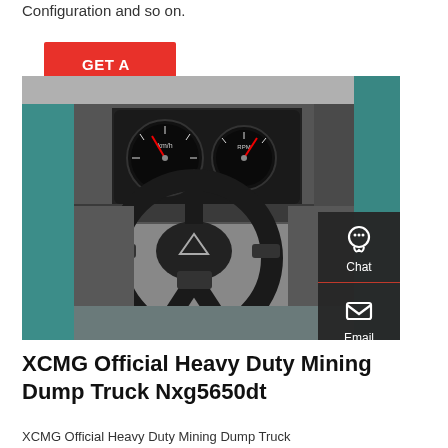Configuration and so on.
GET A QUOTE
[Figure (photo): Interior of XCMG heavy duty mining dump truck cab showing steering wheel with XCMG logo, dashboard with dual gauge clusters, and side windows revealing teal/green truck exterior. On the right side is a dark sidebar with Chat, Email, and Contact icons.]
XCMG Official Heavy Duty Mining Dump Truck Nxg5650dt
XCMG Official Heavy Duty Mining Dump Truck